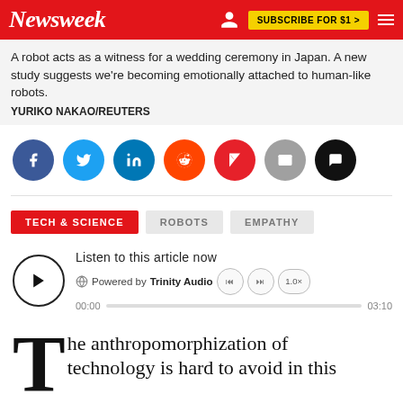Newsweek — SUBSCRIBE FOR $1 >
A robot acts as a witness for a wedding ceremony in Japan. A new study suggests we're becoming emotionally attached to human-like robots.
YURIKO NAKAO/REUTERS
[Figure (infographic): Social share buttons: Facebook, Twitter, LinkedIn, Reddit, Flipboard, Email, Comments]
TECH & SCIENCE   ROBOTS   EMPATHY
[Figure (infographic): Audio player: Listen to this article now. Powered by Trinity Audio. Time 00:00 / 03:10. Speed 1.0x.]
The anthropomorphization of technology is hard to avoid in this